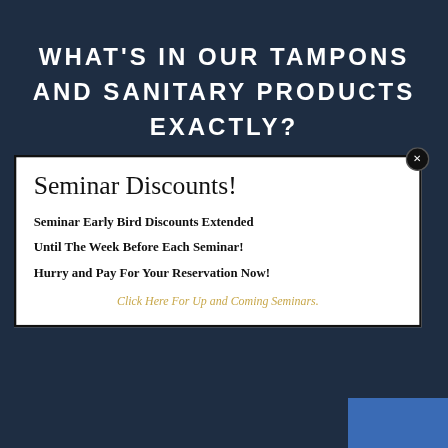WHAT'S IN OUR TAMPONS AND SANITARY PRODUCTS EXACTLY?
Seminar Discounts!
Seminar Early Bird Discounts Extended
Until The Week Before Each Seminar!
Hurry and Pay For Your Reservation Now!
Click Here For Up and Coming Seminars.